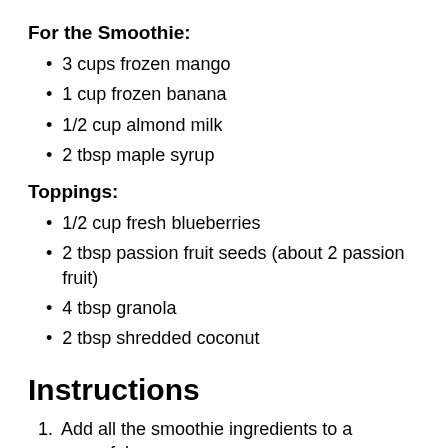For the Smoothie:
3 cups frozen mango
1 cup frozen banana
1/2 cup almond milk
2 tbsp maple syrup
Toppings:
1/2 cup fresh blueberries
2 tbsp passion fruit seeds (about 2 passion fruit)
4 tbsp granola
2 tbsp shredded coconut
Instructions
Add all the smoothie ingredients to a powerful